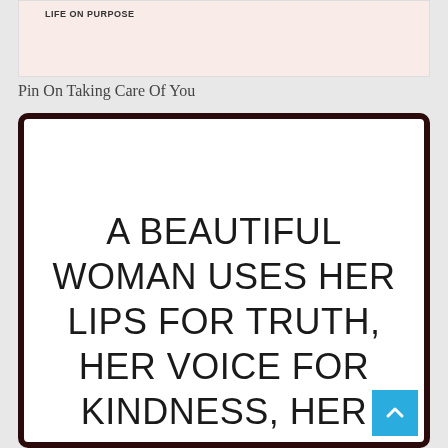LIFE ON PURPOSE
Pin On Taking Care Of You
[Figure (illustration): White card with dark maroon border containing large sans-serif quote text: A BEAUTIFUL WOMAN USES HER LIPS FOR TRUTH, HER VOICE FOR KINDNESS, HER EARS FOR COMPASSION, HER]
A BEAUTIFUL WOMAN USES HER LIPS FOR TRUTH, HER VOICE FOR KINDNESS, HER EARS FOR COMPASSION, HER